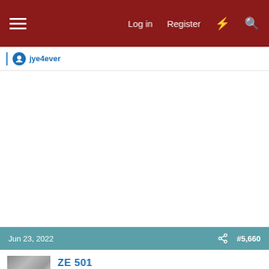Log in  Register
jye4ever
Jun 23, 2022  #5,660
ZE 501
Super Freak  CF Supporter